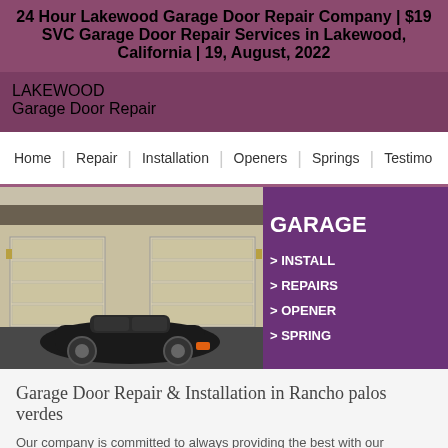24 Hour Lakewood Garage Door Repair Company | $19 SVC Garage Door Repair Services in Lakewood, California | 19, August, 2022
LAKEWOOD
Garage Door Repair
[Figure (screenshot): Navigation bar with menu items: Home, Repair, Installation, Openers, Springs, Testimo...]
[Figure (photo): Hero banner showing a photo of a house with two garage doors and a black sports car parked in front, alongside a purple panel listing services: GARAGE, > INSTALL, > REPAIRS, > OPENER, > SPRING]
Garage Door Repair & Installation in Rancho palos verdes
Our company is committed to always providing the best with our service, and is fully f...